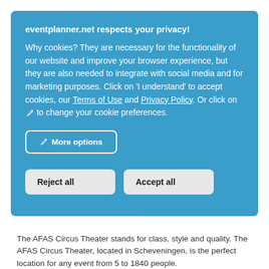eventplanner.net respects your privacy!
Why cookies? They are necessary for the functionality of our website and improve your browser experience, but they are also needed to integrate with social media and for marketing purposes. Click on 'I understand' to accept cookies, our Terms of Use and Privacy Policy. Or click on ✏ to change your cookie preferences.
More options
Reject all
Accept all
The AFAS Circus Theater stands for class, style and quality. The AFAS Circus Theater, located in Scheveningen, is the perfect location for any event from 5 to 1840 people.